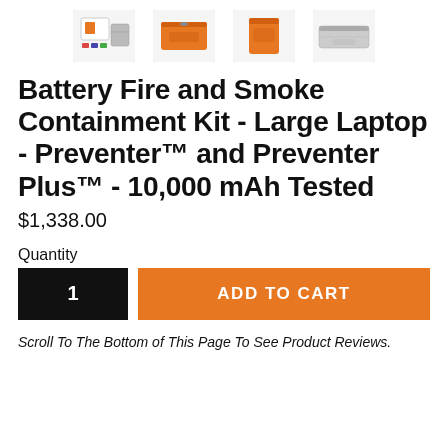[Figure (photo): Row of four product thumbnail images showing the Battery Fire and Smoke Containment Kit from different angles: kit contents laid out, folded orange bag, orange pouch, and silver/grey folded bag.]
Battery Fire and Smoke Containment Kit - Large Laptop - Preventer™ and Preventer Plus™ - 10,000 mAh Tested
$1,338.00
Quantity
1
ADD TO CART
Scroll To The Bottom of This Page To See Product Reviews.